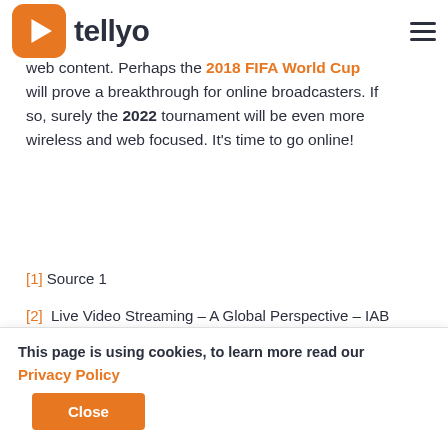[Figure (logo): Tellyo logo — orange rounded square with white play triangle icon, followed by bold dark text 'tellyo']
It looks like online access will be at a record high with more than one platform being used for web content. Perhaps the 2018 FIFA World Cup will prove a breakthrough for online broadcasters. If so, surely the 2022 tournament will be even more wireless and web focused. It's time to go online!
[1] Source 1
[2]  Live Video Streaming – A Global Perspective – IAB Report, June 2018
This page is using cookies, to learn more read our Privacy Policy
Close